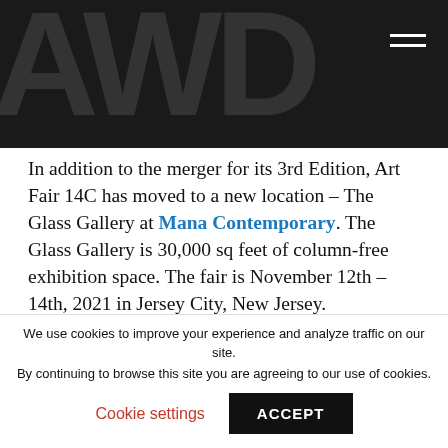AWD logo header with hamburger menu
In addition to the merger for its 3rd Edition, Art Fair 14C has moved to a new location – The Glass Gallery at Mana Contemporary. The Glass Gallery is 30,000 sq feet of column-free exhibition space. The fair is November 12th – 14th, 2021 in Jersey City, New Jersey.
As New Jersey's only art fair they provide support and growth opportunity for more than 50 exhibitors from their area and around the world. Exhibiting with them offers the opportunity to meet buyers and promote and
We use cookies to improve your experience and analyze traffic on our site. By continuing to browse this site you are agreeing to our use of cookies.
Cookie settings   ACCEPT